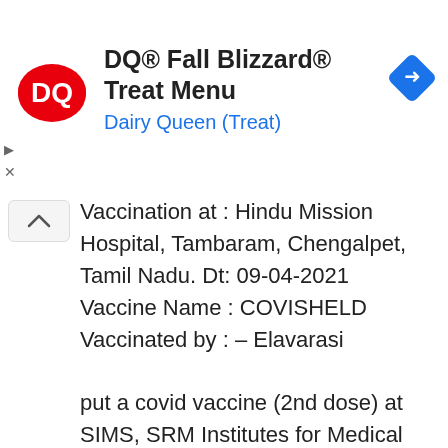[Figure (logo): Dairy Queen DQ logo - red/orange oval with DQ letters in white]
DQ® Fall Blizzard® Treat Menu
Dairy Queen (Treat)
[Figure (other): Blue diamond navigation/turn-right icon]
Vaccination at : Hindu Mission Hospital, Tambaram, Chengalpet, Tamil Nadu. Dt: 09-04-2021
Vaccine Name : COVISHELD
Vaccinated by : – Elavarasi

put a covid vaccine (2nd dose) at SIMS, SRM Institutes for Medical Science , Chennai. Date: 06-07-2021.
Batch No: 4121Z082
Beneficiary Refence ID` : 44814221363000, Dt: 06-07-2021
Unique Health ID (UHID) : 40-6561